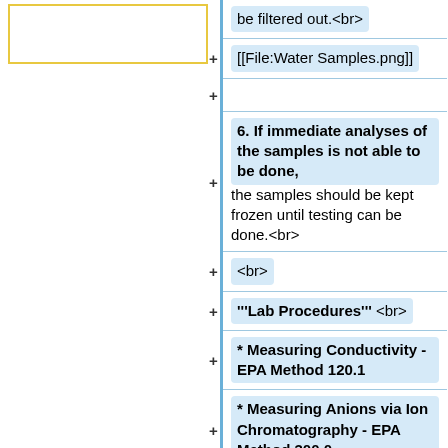[Figure (other): Yellow-bordered empty box on left column]
be filtered out.<br>
[[File:Water Samples.png]]
+
6. If immediate analyses of the samples is not able to be done, the samples should be kept frozen until testing can be done.<br>
<br>
'''Lab Procedures''' <br>
* Measuring Conductivity - EPA Method 120.1
* Measuring Anions via Ion Chromatography - EPA Method 300.0
* Measuring